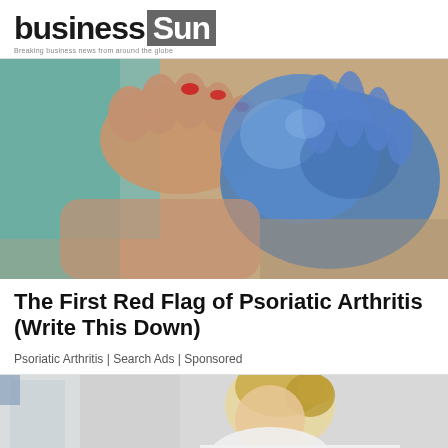business Sun — Breaking business news from around the globe
[Figure (photo): Close-up photo of swollen foot/toes being examined by a medical professional wearing blue latex gloves]
The First Red Flag of Psoriatic Arthritis (Write This Down)
Psoriatic Arthritis | Search Ads | Sponsored
[Figure (photo): Partial photo of a woman with blonde hair pulled back, looking down, wearing white clothing, in a medical or office setting]